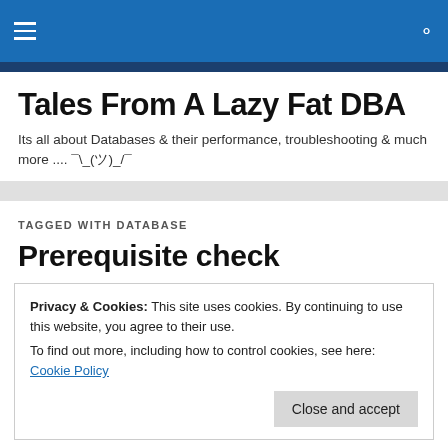Tales From A Lazy Fat DBA — navigation header bar
Tales From A Lazy Fat DBA
Its all about Databases & their performance, troubleshooting & much more .... ¯\_(ツ)_/¯
TAGGED WITH DATABASE
Prerequisite check
Privacy & Cookies: This site uses cookies. By continuing to use this website, you agree to their use.
To find out more, including how to control cookies, see here: Cookie Policy
Close and accept